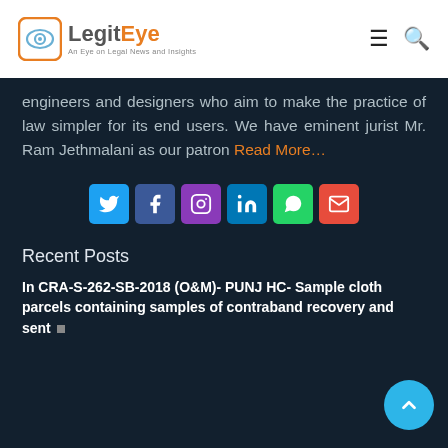LegitEye – An Eye on Legal News and Insights
engineers and designers who aim to make the practice of law simpler for its end users. We have eminent jurist Mr. Ram Jethmalani as our patron Read More…
[Figure (other): Row of social sharing buttons: Twitter (blue), Facebook (dark blue), Instagram (purple), LinkedIn (blue), WhatsApp (green), Email (red)]
Recent Posts
In CRA-S-262-SB-2018 (O&M)- PUNJ HC- Sample cloth parcels containing samples of contraband recovery and sent